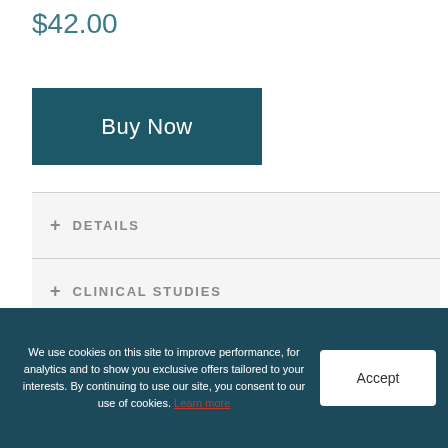$42.00
Buy Now
+ DETAILS
+ CLINICAL STUDIES
+ CLEAN SCIENCE
+ HOW TO USE
We use cookies on this site to improve performance, for analytics and to show you exclusive offers tailored to your interests. By continuing to use our site, you consent to our use of cookies. Learn more